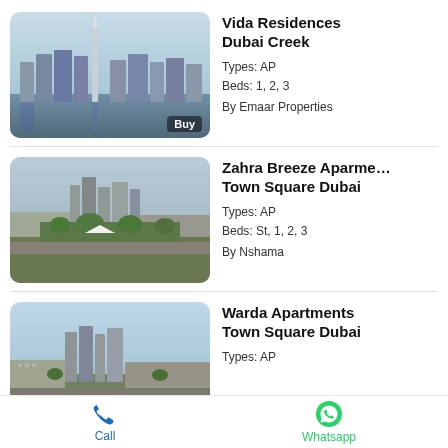[Figure (photo): Aerial/waterfront view of Dubai Creek skyline with tall spire tower]
Buy
Vida Residences Dubai Creek
Types: AP
Beds: 1, 2, 3
By Emaar Properties
[Figure (photo): Aerial view of Zahra Breeze Apartments in Town Square Dubai with green spaces and residential buildings]
Zahra Breeze Aparme... Town Square Dubai
Types: AP
Beds: St, 1, 2, 3
By Nshama
[Figure (photo): Aerial view of Warda Apartments in Town Square Dubai]
Warda Apartments Town Square Dubai
Types: AP
Call   Whatsapp